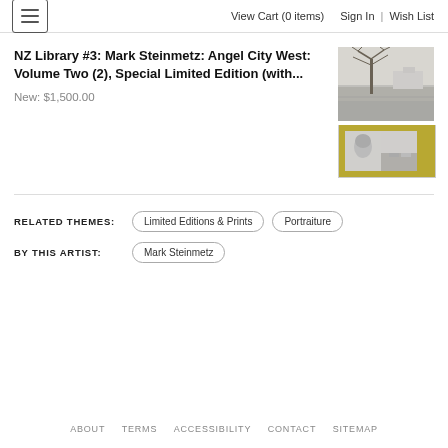View Cart (0 items)  Sign In | Wish List
NZ Library #3: Mark Steinmetz: Angel City West: Volume Two (2), Special Limited Edition (with...
New: $1,500.00
[Figure (photo): Book product image showing street scene (black and white) and two smaller portrait/architectural photos on gold background]
RELATED THEMES:
Limited Editions & Prints
Portraiture
BY THIS ARTIST:
Mark Steinmetz
ABOUT  TERMS  ACCESSIBILITY  CONTACT  SITEMAP